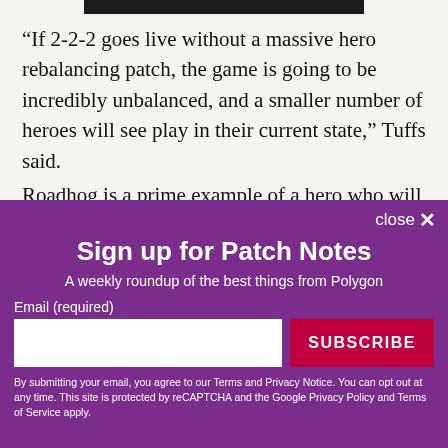[Figure (other): Black bar image fragment at top of page]
“If 2-2-2 goes live without a massive hero rebalancing patch, the game is going to be incredibly unbalanced, and a smaller number of heroes will see play in their current state,” Tuffs said.
Roadhog is a prime example of a hero who will fall
close ×
Sign up for Patch Notes
A weekly roundup of the best things from Polygon
Email (required)
SUBSCRIBE
By submitting your email, you agree to our Terms and Privacy Notice. You can opt out at any time. This site is protected by reCAPTCHA and the Google Privacy Policy and Terms of Service apply.